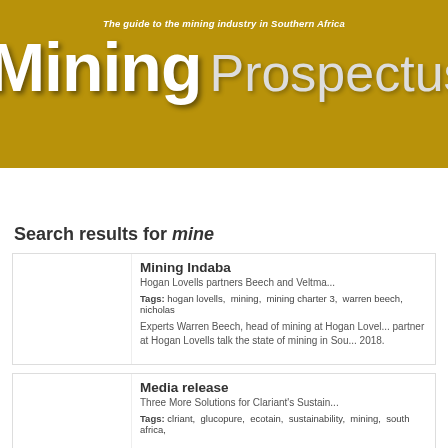The guide to the mining industry in Southern Africa
Mining Prospectus
Home | Articles | About | This Edition | Contact Us
Search results for mine
Mining Indaba
Hogan Lovells partners Beech and Veltma...
Tags: hogan lovells, mining, mining charter 3, warren beech, nicholas
Experts Warren Beech, head of mining at Hogan Lovel... partner at Hogan Lovells talk the state of mining in Sou... 2018.
Media release
Three More Solutions for Clariant's Sustain...
Tags: clriant, glucopure, ecotain, sustainability, mining, south africa,